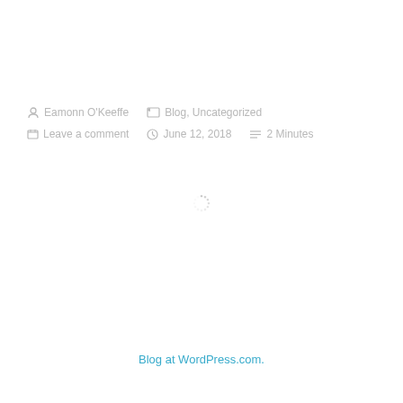Eamonn O'Keeffe   Blog, Uncategorized   Leave a comment   June 12, 2018   2 Minutes
[Figure (other): Loading spinner / circular activity indicator]
Blog at WordPress.com.